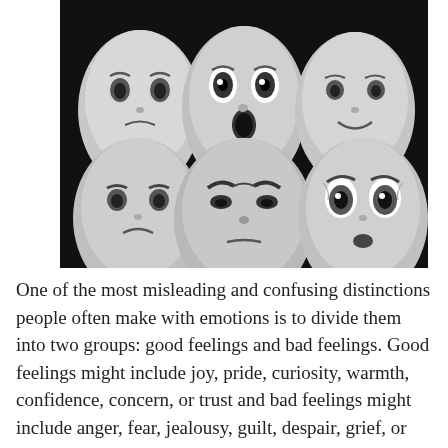[Figure (photo): Black and white photograph of six theatrical masks arranged in two rows of three. Top row shows masks with expressions of sadness, surprise/shock (open mouth, wide eyes), and a slight smile. Bottom row shows masks with expressions of sadness/melancholy, anger (furrowed brows), and fear/shock (wide circular eyes, open mouth).]
One of the most misleading and confusing distinctions people often make with emotions is to divide them into two groups: good feelings and bad feelings. Good feelings might include joy, pride, curiosity, warmth, confidence, concern, or trust and bad feelings might include anger, fear, jealousy, guilt, despair, grief, or hate. While certainly there is a clear distinction at this...